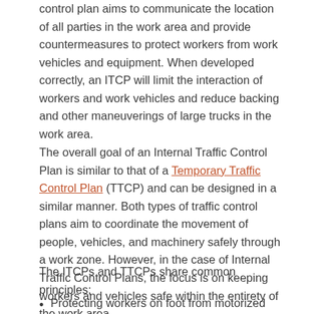control plan aims to communicate the location of all parties in the work area and provide countermeasures to protect workers from work vehicles and equipment. When developed correctly, an ITCP will limit the interaction of workers and work vehicles and reduce backing and other maneuverings of large trucks in the work area.
The overall goal of an Internal Traffic Control Plan is similar to that of a Temporary Traffic Control Plan (TTCP) and can be designed in a similar manner. Both types of traffic control plans aim to coordinate the movement of people, vehicles, and machinery safely through a work zone. However, in the case of Internal Traffic Control Plans, the focus is on keeping workers and vehicles safe within the entirety of the work area.
The ITCPs and TTCPs share common principles;
Protecting workers on foot from motorized